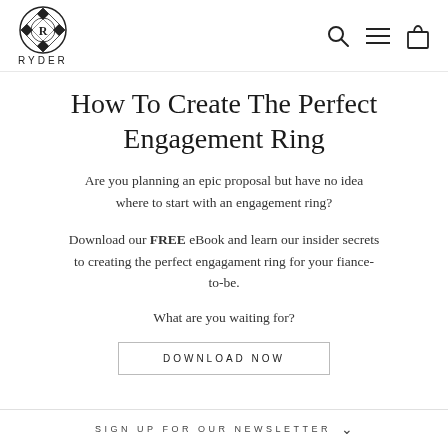[Figure (logo): Ryder jewelry brand logo: circular ornate medallion with R initial, geometric pattern border, with RYDER text below]
[Figure (other): Navigation icons: search (magnifying glass), menu (hamburger three lines), shopping bag]
How To Create The Perfect Engagement Ring
Are you planning an epic proposal but have no idea where to start with an engagement ring?
Download our FREE eBook and learn our insider secrets to creating the perfect engagament ring for your fiance-to-be.
What are you waiting for?
DOWNLOAD NOW
SIGN UP FOR OUR NEWSLETTER